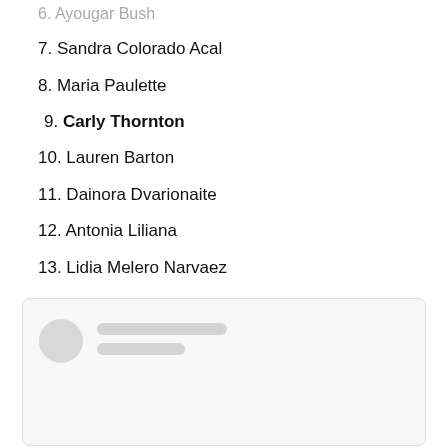6. Ayougar Bush
7. Sandra Colorado Acal
8. Maria Paulette
9. Carly Thornton
10. Lauren Barton
11. Dainora Dvarionaite
12. Antonia Liliana
13. Lidia Melero Narvaez
[Figure (screenshot): A UI card placeholder with a circular avatar and two grey loading skeleton lines representing a user profile card.]